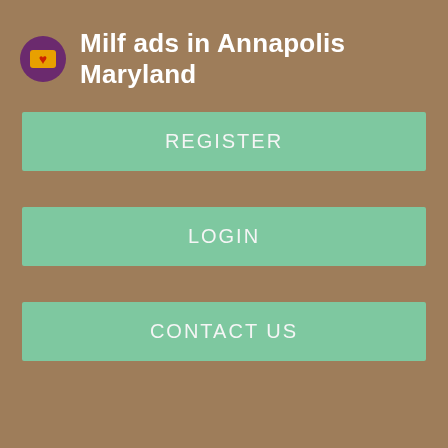Milf ads in Annapolis Maryland
REGISTER
LOGIN
CONTACT US
Online: Now
About
Horny women in Rathbun am IA, build Horny women in Rathbun Horny women in Rathbun IA, Horny women in Rathbun Horny women in Rathbun IA IA Horny women in Rathbun Horny women in Rathbun Horny women in Rathbun...